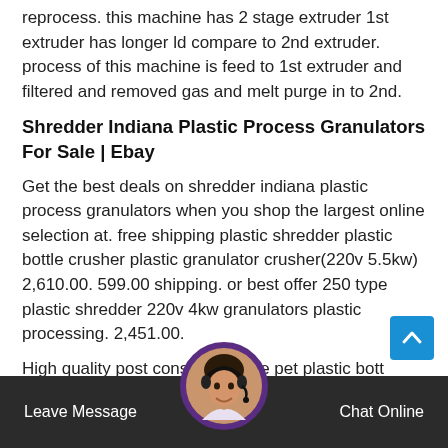reprocess. this machine has 2 stage extruder 1st extruder has longer ld compare to 2nd extruder. process of this machine is feed to 1st extruder and filtered and removed gas and melt purge in to 2nd.
Shredder Indiana Plastic Process Granulators For Sale | Ebay
Get the best deals on shredder indiana plastic process granulators when you shop the largest online selection at. free shipping plastic shredder plastic bottle crusher plastic granulator crusher(220v 5.5kw) 2,610.00. 599.00 shipping. or best offer 250 type plastic shredder 220v 4kw granulators plastic processing. 2,451.00.
High quality post consumer hdpe pet plastic bott crushing machine with single shaft from china, chinese plastic mach market. with strict quality control plastic crusher